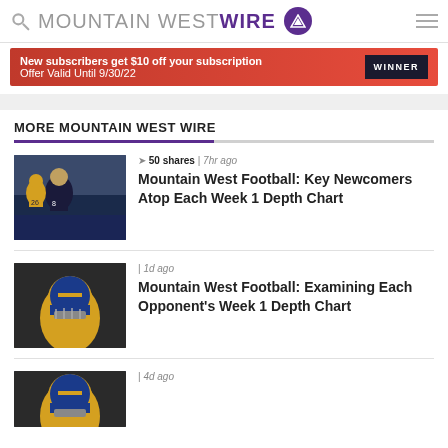MOUNTAIN WEST WIRE
[Figure (other): Advertisement banner: New subscribers get $10 off your subscription. Offer Valid Until 9/30/22. WINNER badge on right.]
MORE MOUNTAIN WEST WIRE
[Figure (photo): Football players on field, one in dark jersey running with ball, defenders in yellow jerseys]
50 shares | 7hr ago
Mountain West Football: Key Newcomers Atop Each Week 1 Depth Chart
[Figure (photo): Football player in yellow/blue Michigan helmet and uniform, close-up portrait]
| 1d ago
Mountain West Football: Examining Each Opponent's Week 1 Depth Chart
[Figure (photo): Football player in Michigan helmet, partially visible at bottom of page]
| 4d ago